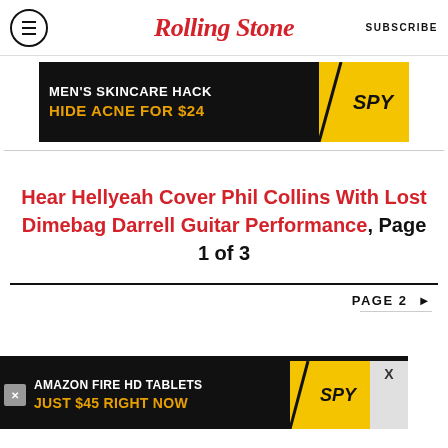Rolling Stone | SUBSCRIBE
[Figure (other): Advertisement banner: MEN'S SKINCARE HACK / HIDE ACNE FOR $24 with SPY logo on yellow background]
Hear Hellyeah Cover Phil Collins With Lost Dimebag Darrell Guitar Performance, Page 1 of 3
PAGE 2 ▶
[Figure (other): Advertisement banner: AMAZON FIRE HD TABLETS / JUST $45 RIGHT NOW with SPY logo on yellow background]